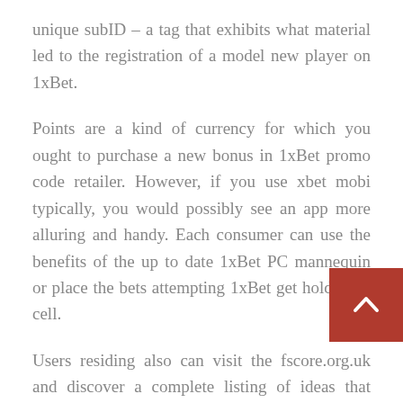unique subID – a tag that exhibits what material led to the registration of a model new player on 1xBet.
Points are a kind of currency for which you ought to purchase a new bonus in 1xBet promo code retailer. However, if you use xbet mobi typically, you would possibly see an app more alluring and handy. Each consumer can use the benefits of the up to date 1xBet PC mannequin or place the bets attempting 1xBet get hold of to cell.
Users residing also can visit the fscore.org.uk and discover a complete listing of ideas that can possibilities while betting on the Windows ap PC. This permits cell customers to put bets on the go and take full benefit of the web operator 24/7. Now